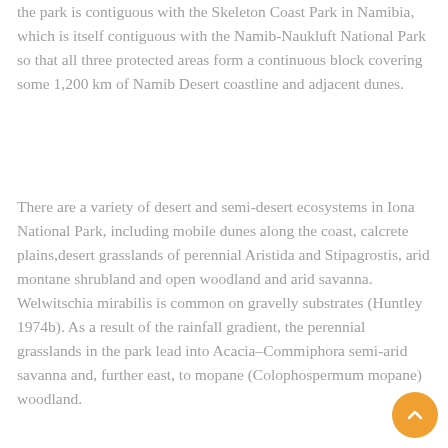the park is contiguous with the Skeleton Coast Park in Namibia, which is itself contiguous with the Namib-Naukluft National Park so that all three protected areas form a continuous block covering some 1,200 km of Namib Desert coastline and adjacent dunes.
There are a variety of desert and semi-desert ecosystems in Iona National Park, including mobile dunes along the coast, calcrete plains,desert grasslands of perennial Aristida and Stipagrostis, arid montane shrubland and open woodland and arid savanna. Welwitschia mirabilis is common on gravelly substrates (Huntley 1974b). As a result of the rainfall gradient, the perennial grasslands in the park lead into Acacia–Commiphora semi-arid savanna and, further east, to mopane (Colophospermum mopane) woodland.